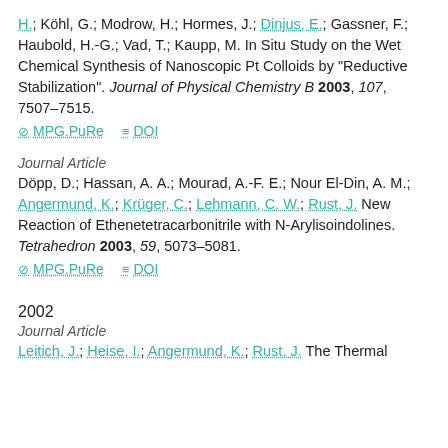H.; Köhl, G.; Modrow, H.; Hormes, J.; Dinjus, E.; Gassner, F.; Haubold, H.-G.; Vad, T.; Kaupp, M. In Situ Study on the Wet Chemical Synthesis of Nanoscopic Pt Colloids by "Reductive Stabilization". Journal of Physical Chemistry B 2003, 107, 7507–7515.
MPG.PuRe   DOI
Journal Article
Döpp, D.; Hassan, A. A.; Mourad, A.-F. E.; Nour El-Din, A. M.; Angermund, K.; Krüger, C.; Lehmann, C. W.; Rust, J. New Reaction of Ethenetetracarbonitrile with N-Arylisoindolines. Tetrahedron 2003, 59, 5073–5081.
MPG.PuRe   DOI
2002
Journal Article
Leitich, J.; Heise, I.; Angermund, K.; Rust, J. The Thermal